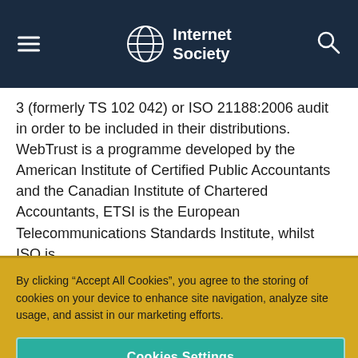Internet Society
3 (formerly TS 102 042) or ISO 21188:2006 audit in order to be included in their distributions. WebTrust is a programme developed by the American Institute of Certified Public Accountants and the Canadian Institute of Chartered Accountants, ETSI is the European Telecommunications Standards Institute, whilst ISO is
By clicking “Accept All Cookies”, you agree to the storing of cookies on your device to enhance site navigation, analyze site usage, and assist in our marketing efforts.
Cookies Settings
Reject Optional Cookies
Accept All Cookies